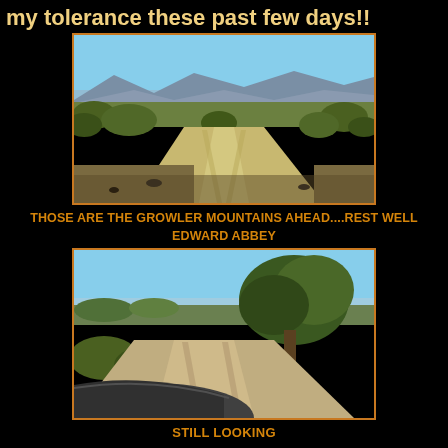my tolerance these past few days!!
[Figure (photo): Desert dirt road through scrub brush with Growler Mountains visible in background under blue sky]
THOSE ARE THE GROWLER MOUNTAINS AHEAD....REST WELL EDWARD ABBEY
[Figure (photo): Desert dirt road with sandy wash and large tree/scrub, viewed from inside vehicle with car hood visible at bottom]
STILL LOOKING